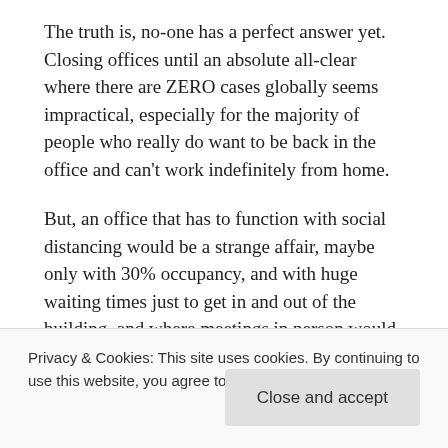The truth is, no-one has a perfect answer yet. Closing offices until an absolute all-clear where there are ZERO cases globally seems impractical, especially for the majority of people who really do want to be back in the office and can't work indefinitely from home.
But, an office that has to function with social distancing would be a strange affair, maybe only with 30% occupancy, and with huge waiting times just to get in and out of the building, and where meetings in person would be strained and difficult. Moreover, it would be an environment where the managers of the business would have to accept that at any time someone may arrive with the virus. How do you operate like that?
Which leads to the final point: will governments around the
Privacy & Cookies: This site uses cookies. By continuing to use this website, you agree to their use. Privacy Policy
Close and accept
to front one hundreds of those start, getting the virus, and then, to actually prevent part of the procedure, and ten...